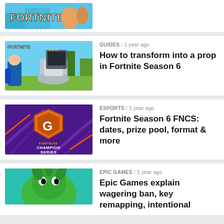[Figure (screenshot): Partial Fortnite game image cropped at top, showing FORTNITE logo text]
[Figure (screenshot): Fortnite Season 6 prop hunt - toilet and blue character screenshot with FORTNITE watermark]
GUIDES / 1 year ago
How to transform into a prop in Fortnite Season 6
[Figure (screenshot): Fortnite Champion Series purple background with orange shield logo]
ESPORTS / 1 year ago
Fortnite Season 6 FNCS: dates, prize pool, format & more
[Figure (screenshot): Epic Games article thumbnail showing green character]
EPIC GAMES / 1 year ago
Epic Games explain wagering ban, key remapping, intentional